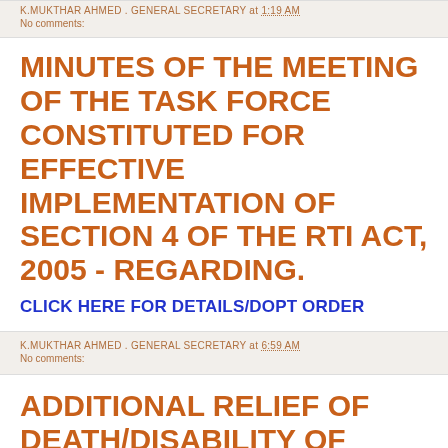K.MUKTHAR AHMED . GENERAL SECRETARY at 1:19 AM
No comments:
MINUTES OF THE MEETING OF THE TASK FORCE CONSTITUTED FOR EFFECTIVE IMPLEMENTATION OF SECTION 4 OF THE RTI ACT, 2005 - REGARDING.
CLICK HERE FOR DETAILS/DOPT ORDER
K.MUKTHAR AHMED . GENERAL SECRETARY at 6:59 AM
No comments:
ADDITIONAL RELIEF OF DEATH/DISABILITY OF GOVERNMENT SERVANTS